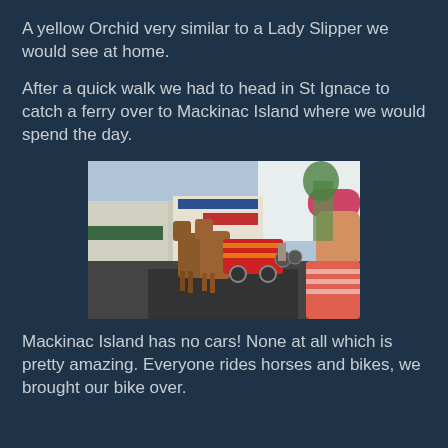A yellow Orchid very similar to a Lady Slipper we would see at home.
After a quick walk we had to head in St Ignace to catch a ferry over to Mackinac Island where we would spend the day.
[Figure (photo): Street scene on Mackinac Island showing two brown horses pulling a red carriage down a main street lined with shops and buildings. A man wearing a pink baseball cap and striped shirt is visible in the right foreground, and cyclists and pedestrians are visible in the background.]
Mackinac Island has no cars! None at all which is pretty amazing. Everyone rides horses and bikes, we brought our bike over.